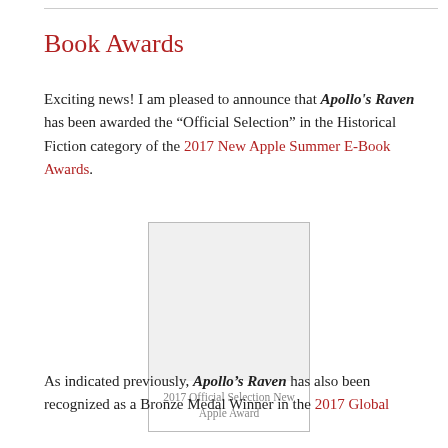Book Awards
Exciting news! I am pleased to announce that Apollo's Raven has been awarded the “Official Selection” in the Historical Fiction category of the 2017 New Apple Summer E-Book Awards.
[Figure (other): Award badge placeholder image for 2017 Official Selection New Apple Award]
2017 Official Selection New Apple Award
As indicated previously, Apollo’s Raven has also been recognized as a Bronze Medal Winner in the 2017 Global